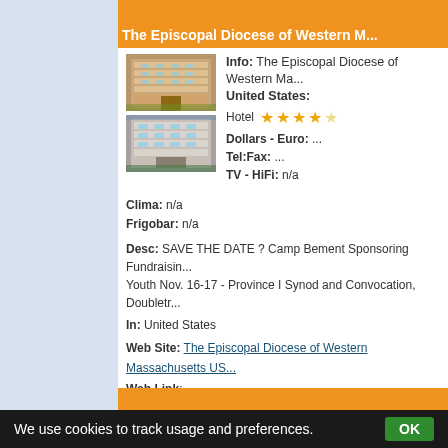The Episcopal Diocese of Western M...
[Figure (photo): Photo of hotel building exterior - upper floors with balconies]
[Figure (photo): Photo of hotel building exterior - street level view]
Info: The Episcopal Diocese of Western Ma... United States:
Hotel ★★★★½
Dollars - Euro: ...
Tel:Fax: ...
TV - HiFi: n/a
Clima: n/a
Frigobar: n/a
Desc: SAVE THE DATE ? Camp Bement Sponsoring Fundraisin... Youth Nov. 16-17 - Province I Synod and Convocation, Doubletree...
In: United States
Web Site: The Episcopal Diocese of Western Massachusetts US...
Web Link: http://www.diocesewma.org/News/ematters.html
We use cookies to track usage and preferences.  OK